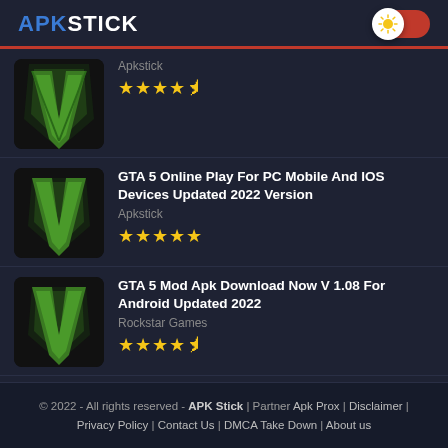APKSTICK
[Figure (screenshot): GTA 5 app icon - black background with green V logo (partial, cropped at top)]
Apkstick
[Figure (other): 4.5 star rating]
[Figure (screenshot): GTA 5 app icon - black background with green V logo]
GTA 5 Online Play For PC Mobile And IOS Devices Updated 2022 Version
Apkstick
[Figure (other): 5 star rating]
[Figure (screenshot): GTA 5 app icon - black background with green V logo]
GTA 5 Mod Apk Download Now V 1.08 For Android Updated 2022
Rockstar Games
[Figure (other): 4.5 star rating]
© 2022 - All rights reserved - APK Stick | Partner Apk Prox | Disclaimer | Privacy Policy | Contact Us | DMCA Take Down | About us